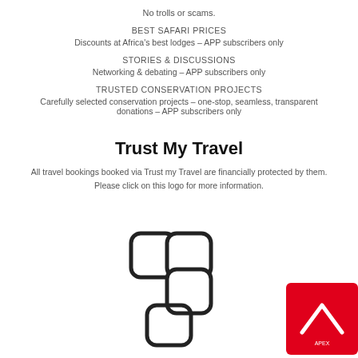No trolls or scams.
BEST SAFARI PRICES
Discounts at Africa's best lodges – APP subscribers only
STORIES & DISCUSSIONS
Networking & debating – APP subscribers only
TRUSTED CONSERVATION PROJECTS
Carefully selected conservation projects – one-stop, seamless, transparent donations – APP subscribers only
Trust My Travel
All travel bookings booked via Trust my Travel are financially protected by them. Please click on this logo for more information.
[Figure (logo): Trust My Travel logo – two overlapping rounded rectangles in an F-like shape, black outline on white]
[Figure (logo): Red square logo with a white tent/mountain peak icon, small text below]